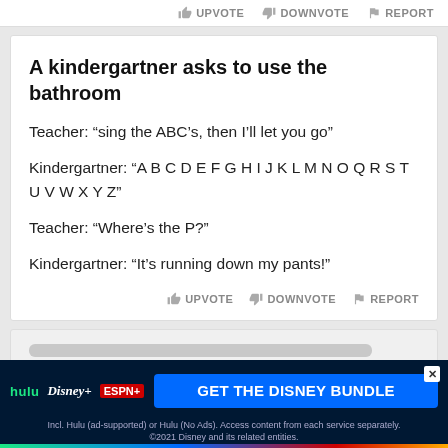UPVOTE  DOWNVOTE  REPORT
A kindergartner asks to use the bathroom
Teacher: “sing the ABC’s, then I’ll let you go”

Kindergartner: “A B C D E F G H I J K L M N O Q R S T U V W X Y Z”

Teacher: “Where’s the P?”

Kindergartner: “It’s running down my pants!”
UPVOTE  DOWNVOTE  REPORT
[Figure (other): Blurred/redacted content card]
This joke may contain profanity.
[Figure (other): Disney Bundle advertisement banner: hulu, Disney+, ESPN+, GET THE DISNEY BUNDLE. Incl. Hulu (ad-supported) or Hulu (No Ads). Access content from each service separately. ©2021 Disney and its related entities.]